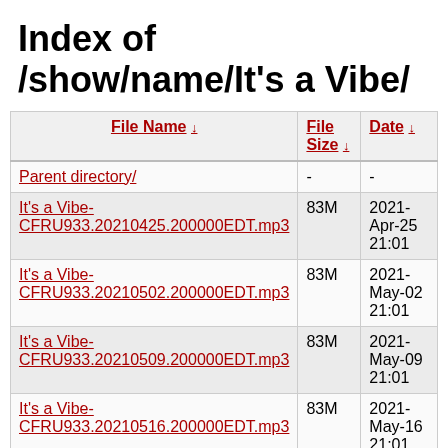Index of /show/name/It's a Vibe/
| File Name ↓ | File Size ↓ | Date ↓ |
| --- | --- | --- |
| Parent directory/ | - | - |
| It's a Vibe-CFRU933.20210425.200000EDT.mp3 | 83M | 2021-Apr-25 21:01 |
| It's a Vibe-CFRU933.20210502.200000EDT.mp3 | 83M | 2021-May-02 21:01 |
| It's a Vibe-CFRU933.20210509.200000EDT.mp3 | 83M | 2021-May-09 21:01 |
| It's a Vibe-CFRU933.20210516.200000EDT.mp3 | 83M | 2021-May-16 21:01 |
| It's a Vibe-CFRU933.20210523.200000EDT.mp3 | 83M | 2021-May-23 |